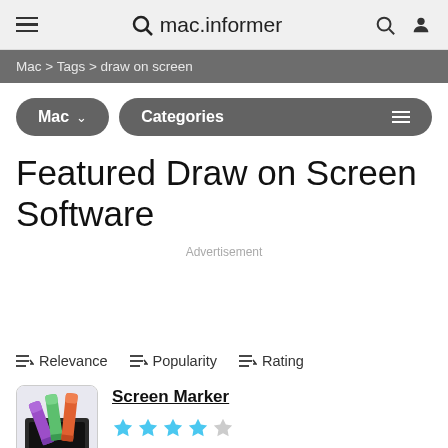mac.informer
Mac > Tags > draw on screen
Mac ∨    Categories  ≡
Featured Draw on Screen Software
Advertisement
≡↓ Relevance   ≡↓ Popularity   ≡↓ Rating
Screen Marker